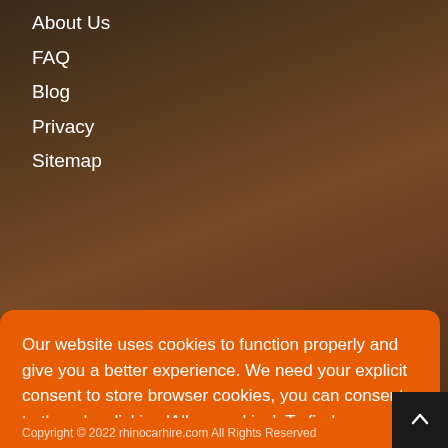About Us
FAQ
Blog
Privacy
Sitemap
Our website uses cookies to function properly and give you a better experience. We need your explicit consent to store browser cookies, you can consent to them by clicking ‘Allow cookies’. To find our more or see our Cookie Policy.
Learn more
Allow Cookies
Copyright © 2022 rhinocarhire.com All Rights Reserved